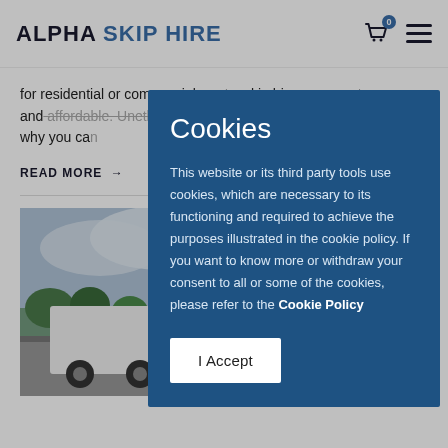ALPHA SKIP HIRE
for residential or commercial waste, skip hire are easy to access and affordable. Unethical disposal of waste causes signific... is why you ca...
READ MORE →
[Figure (photo): Photograph of a white skip hire truck on a road with trees and cloudy sky in the background]
Cookies
This website or its third party tools use cookies, which are necessary to its functioning and required to achieve the purposes illustrated in the cookie policy. If you want to know more or withdraw your consent to all or some of the cookies, please refer to the Cookie Policy
I Accept